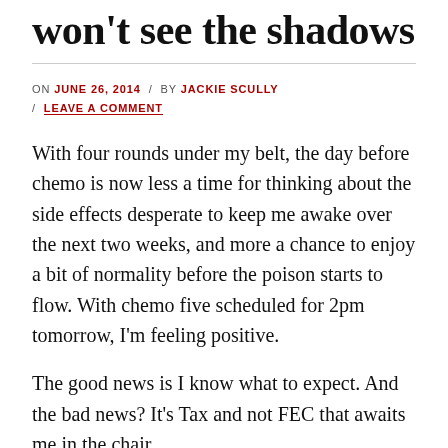won't see the shadows
ON JUNE 26, 2014 / BY JACKIE SCULLY / LEAVE A COMMENT
With four rounds under my belt, the day before chemo is now less a time for thinking about the side effects desperate to keep me awake over the next two weeks, and more a chance to enjoy a bit of normality before the poison starts to flow. With chemo five scheduled for 2pm tomorrow, I'm feeling positive.
The good news is I know what to expect. And the bad news? It's Tax and not FEC that awaits me in the chair